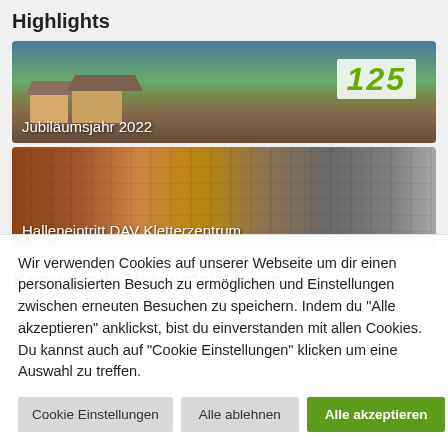Highlights
[Figure (photo): Photograph of Alpine huts/chalets on mountain slope with green hills and a '125' anniversary logo overlay. Caption: Jubiläumsjahr 2022]
[Figure (photo): Photograph of indoor climbing wall surfaces in orange/brown/grey tones. Caption: Halleneintritt DAV Kletterzentrum]
Kommende Veranstaltungen
Wir verwenden Cookies auf unserer Webseite um dir einen personalisierten Besuch zu ermöglichen und Einstellungen zwischen erneuten Besuchen zu speichern. Indem du "Alle akzeptieren" anklickst, bist du einverstanden mit allen Cookies. Du kannst auch auf "Cookie Einstellungen" klicken um eine Auswahl zu treffen.
Cookie Einstellungen
Alle ablehnen
Alle akzeptieren